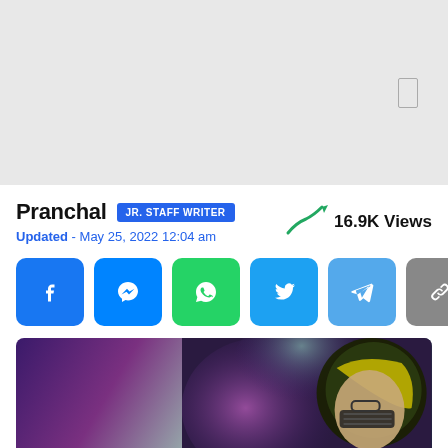[Figure (other): Gray advertisement banner placeholder with a small rectangle icon on the right side]
Pranchal JR. STAFF WRITER
Updated - May 25, 2022 12:04 am
16.9K Views
[Figure (other): Social share buttons: Facebook, Messenger, WhatsApp, Twitter, Telegram, Copy Link]
[Figure (photo): A cricket player wearing a yellow helmet and glasses against a blurred purple and teal background]